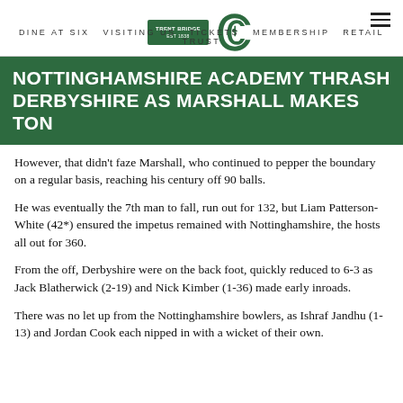TRENT BRIDGE | CCC logo | navigation: DINE AT SIX  VISITING US  TICKETS  MEMBERSHIP  RETAIL  TRUST
NOTTINGHAMSHIRE ACADEMY THRASH DERBYSHIRE AS MARSHALL MAKES TON
However, that didn't faze Marshall, who continued to pepper the boundary on a regular basis, reaching his century off 90 balls.
He was eventually the 7th man to fall, run out for 132, but Liam Patterson-White (42*) ensured the impetus remained with Nottinghamshire, the hosts all out for 360.
From the off, Derbyshire were on the back foot, quickly reduced to 6-3 as Jack Blatherwick (2-19) and Nick Kimber (1-36) made early inroads.
There was no let up from the Nottinghamshire bowlers, as Ishraf Jandhu (1-13) and Jordan Cook each nipped in with a wicket of their own.